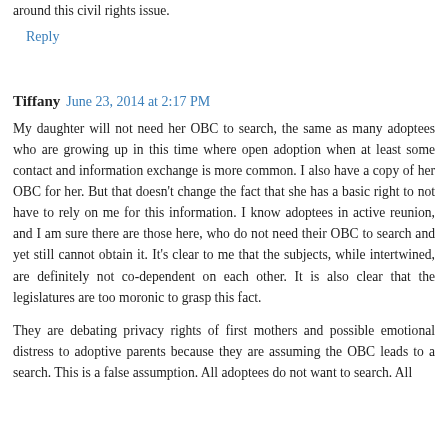around this civil rights issue.
Reply
Tiffany  June 23, 2014 at 2:17 PM
My daughter will not need her OBC to search, the same as many adoptees who are growing up in this time where open adoption when at least some contact and information exchange is more common. I also have a copy of her OBC for her. But that doesn't change the fact that she has a basic right to not have to rely on me for this information. I know adoptees in active reunion, and I am sure there are those here, who do not need their OBC to search and yet still cannot obtain it. It's clear to me that the subjects, while intertwined, are definitely not co-dependent on each other. It is also clear that the legislatures are too moronic to grasp this fact.
They are debating privacy rights of first mothers and possible emotional distress to adoptive parents because they are assuming the OBC leads to a search. This is a false assumption. All adoptees do not want to search. All